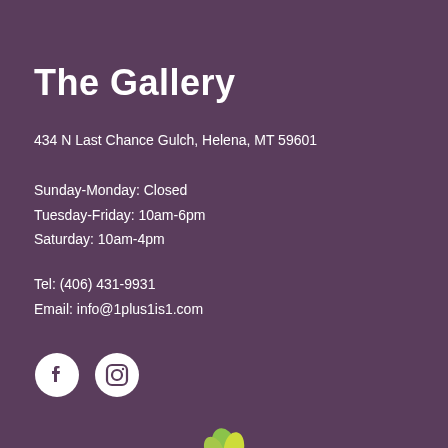The Gallery
434 N Last Chance Gulch, Helena, MT 59601
Sunday-Monday: Closed
Tuesday-Friday: 10am-6pm
Saturday: 10am-4pm
Tel: (406) 431-9931
Email: info@1plus1is1.com
[Figure (logo): Facebook and Instagram social media icons in white circles on purple background]
[Figure (illustration): Partial plant or decorative element visible at bottom center of page]